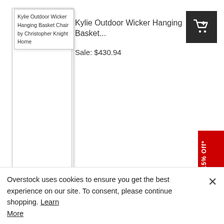[Figure (screenshot): Product image placeholder showing alt text: Kylie Outdoor Wicker Hanging Basket Chair by Christopher Knight Home]
Kylie Outdoor Wicker Hanging Basket...
Sale: $430.94
Outdoor/Indoor
Outdoor
Sale: $291.14 - $309.14
Sale: $308.12 - $311.94
Sale: $326.66 - $327.62
[Figure (screenshot): Product image placeholder showing alt text: Palazzo Outdoor Wicker Teardrop Chair with Cushion by]
Overstock uses cookies to ensure you get the best experience on our site. To consent, please continue shopping. Learn More